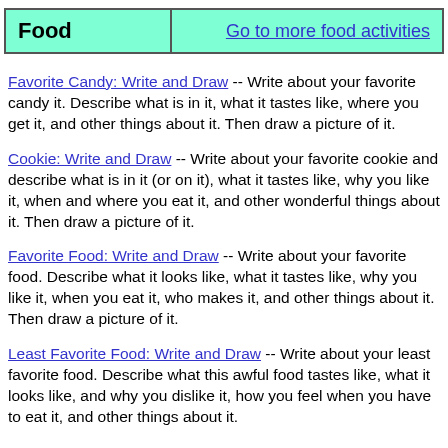| Food | Go to more food activities |
| --- | --- |
Favorite Candy: Write and Draw -- Write about your favorite candy it. Describe what is in it, what it tastes like, where you get it, and other things about it. Then draw a picture of it.
Cookie: Write and Draw -- Write about your favorite cookie and describe what is in it (or on it), what it tastes like, why you like it, when and where you eat it, and other wonderful things about it. Then draw a picture of it.
Favorite Food: Write and Draw -- Write about your favorite food. Describe what it looks like, what it tastes like, why you like it, when you eat it, who makes it, and other things about it. Then draw a picture of it.
Least Favorite Food: Write and Draw -- Write about your least favorite food. Describe what this awful food tastes like, what it looks like, and why you dislike it, how you feel when you have to eat it, and other things about it.